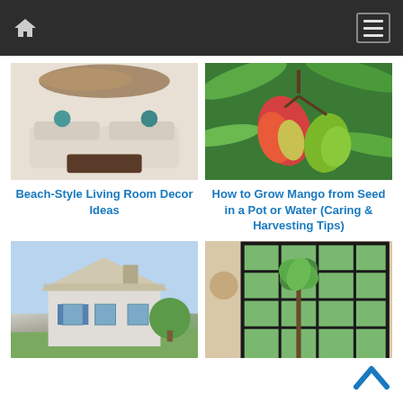Home | Menu
[Figure (photo): Beach-style living room interior with white sofas, teal decorative balls, driftwood art on wall]
[Figure (photo): Close-up of mangoes hanging on a tree branch with green leaves]
Beach-Style Living Room Decor Ideas
How to Grow Mango from Seed in a Pot or Water (Caring & Harvesting Tips)
[Figure (photo): Exterior of a beach house with blue shutters and palm trees]
[Figure (photo): Interior window with black grid panes and tropical palm trees visible outside]